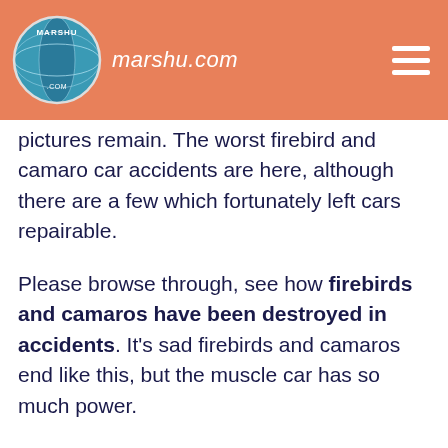marshu.com
pictures remain. The worst firebird and camaro car accidents are here, although there are a few which fortunately left cars repairable.
Please browse through, see how firebirds and camaros have been destroyed in accidents. It’s sad firebirds and camaros end like this, but the muscle car has so much power.